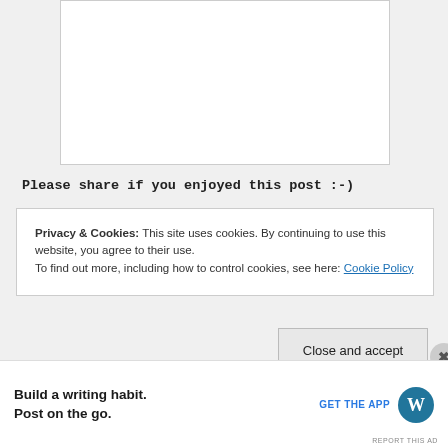[Figure (other): White rectangular content area, likely an embedded image or media placeholder]
Please share if you enjoyed this post :-)
Privacy & Cookies: This site uses cookies. By continuing to use this website, you agree to their use.
To find out more, including how to control cookies, see here: Cookie Policy
Close and accept
Advertisements
Build a writing habit.
Post on the go.
GET THE APP
REPORT THIS AD